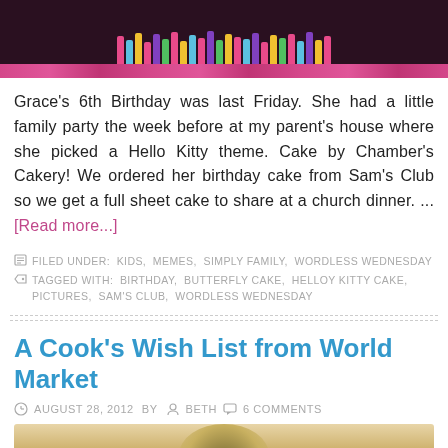[Figure (photo): Top portion of a birthday cake with colorful candles on a dark background, partially visible]
Grace's 6th Birthday was last Friday. She had a little family party the week before at my parent's house where she picked a Hello Kitty theme. Cake by Chamber's Cakery! We ordered her birthday cake from Sam's Club so we get a full sheet cake to share at a church dinner. ... [Read more...]
FILED UNDER: KIDS, MEMES, SIMPLY FAMILY, WORDLESS WEDNESDAY
TAGGED WITH: BIRTHDAY, BUTTERFLY CAKE, HELLOY KITTY CAKE, PICTURES, SAM'S CLUB, WORDLESS WEDNESDAY
A Cook's Wish List from World Market
AUGUST 28, 2012   BY   BETH   6 COMMENTS
[Figure (photo): Bottom portion of a food/cooking related image, partially visible]